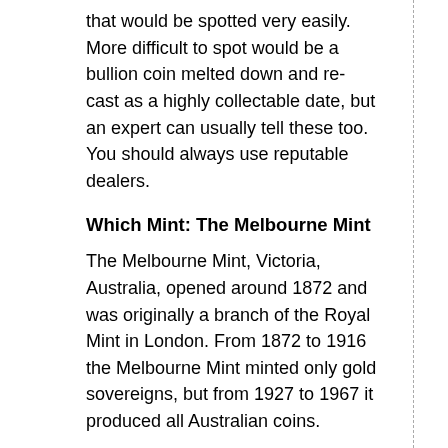that would be spotted very easily. More difficult to spot would be a bullion coin melted down and re-cast as a highly collectable date, but an expert can usually tell these too. You should always use reputable dealers.
Which Mint: The Melbourne Mint
The Melbourne Mint, Victoria, Australia, opened around 1872 and was originally a branch of the Royal Mint in London. From 1872 to 1916 the Melbourne Mint minted only gold sovereigns, but from 1927 to 1967 it produced all Australian coins.
Country of Origin: Australia
Australia is a country and continent surrounded by the Indian and Pacific oceans. Australia used pounds, shillings and pence until 1966, when it adopted the decimal system with the Australian dollar divided into 100 cents. The 1oz Silver coins are a particular favourite with collectors around the World and feature the